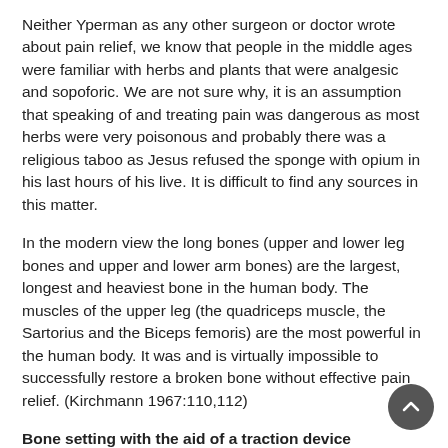Neither Yperman as any other surgeon or doctor wrote about pain relief, we know that people in the middle ages were familiar with herbs and plants that were analgesic and sopoforic. We are not sure why, it is an assumption that speaking of and treating pain was dangerous as most herbs were very poisonous and probably there was a religious taboo as Jesus refused the sponge with opium in his last hours of his live. It is difficult to find any sources in this matter.
In the modern view the long bones (upper and lower leg bones and upper and lower arm bones) are the largest, longest and heaviest bone in the human body. The muscles of the upper leg (the quadriceps muscle, the Sartorius and the Biceps femoris) are the most powerful in the human body. It was and is virtually impossible to successfully restore a broken bone without effective pain relief. (Kirchmann 1967:110,112)
Bone setting with the aid of a traction device
Yperman gave no information about the problems and difficulties that occurred in bone setting. His colleague de Chauiliac described in his book in the chapter about general treatment what the surgeon had to do: